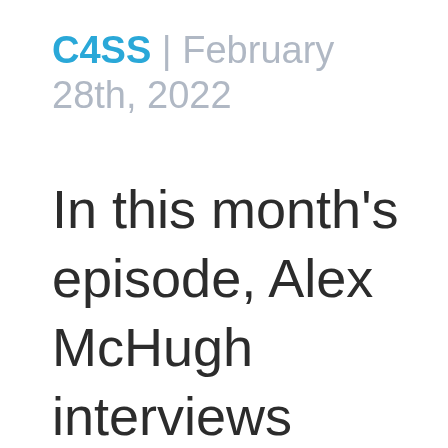C4SS | February 28th, 2022
In this month's episode, Alex McHugh interviews Sarah Skwire, Senior